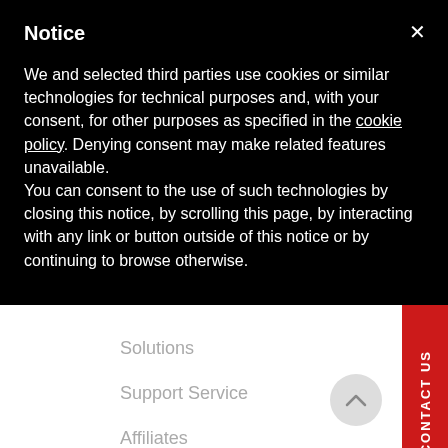Notice
We and selected third parties use cookies or similar technologies for technical purposes and, with your consent, for other purposes as specified in the cookie policy. Denying consent may make related features unavailable.
You can consent to the use of such technologies by closing this notice, by scrolling this page, by interacting with any link or button outside of this notice or by continuing to browse otherwise.
Solutions
Support Service
Affiliates